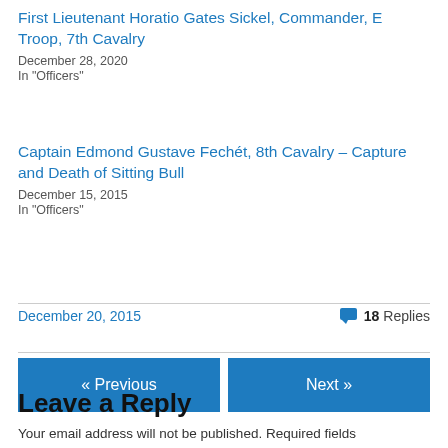First Lieutenant Horatio Gates Sickel, Commander, E Troop, 7th Cavalry
December 28, 2020
In "Officers"
Captain Edmond Gustave Fechét, 8th Cavalry – Capture and Death of Sitting Bull
December 15, 2015
In "Officers"
December 20, 2015
18 Replies
« Previous
Next »
Leave a Reply
Your email address will not be published. Required fields